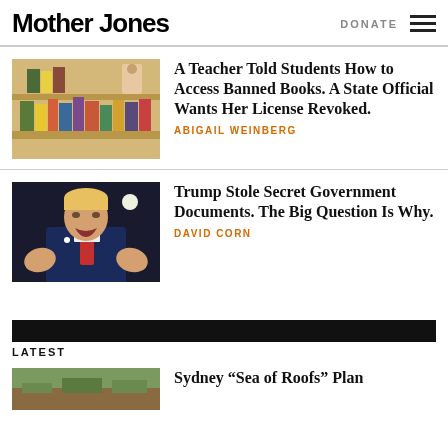Mother Jones | DONATE
[Figure (photo): Bookshelf with various books on display in a store or library]
A Teacher Told Students How to Access Banned Books. A State Official Wants Her License Revoked.
ABIGAIL WEINBERG
[Figure (photo): Donald Trump speaking with hands raised, wearing a navy suit and red tie]
Trump Stole Secret Government Documents. The Big Question Is Why.
DAVID CORN
LATEST
Sydney “Sea of Roofs” Plan